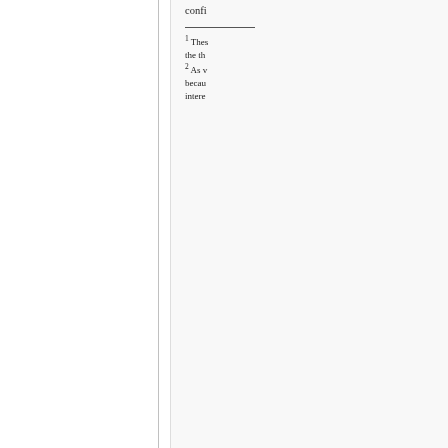confi
1 These the th
2 As v becau intere
publis
respo
defam
refus